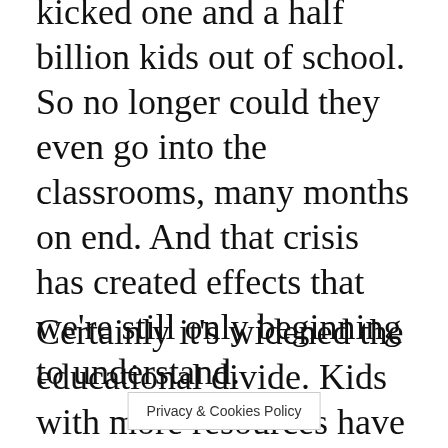kicked one and a half billion kids out of school. So no longer could they even go into the classrooms, many months on end. And that crisis has created effects that we're still only beginning to understand.
Certainly it's widened the educational divide. Kids with more resources have had a less bad deal through the pandemic than kids who don't have resources. It's opened up really interest[ing questions a]bout the role of
Privacy & Cookies Policy